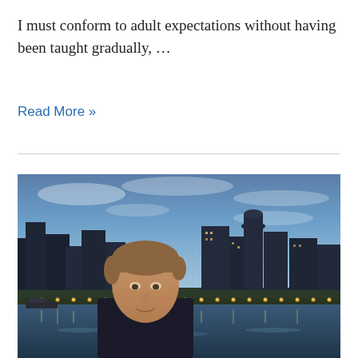I must conform to adult expectations without having been taught gradually, …
Read More »
[Figure (photo): Person standing in front of the London city skyline at dusk, with the River Thames in the foreground and city lights reflected on the water. The sky is blue-grey with clouds.]